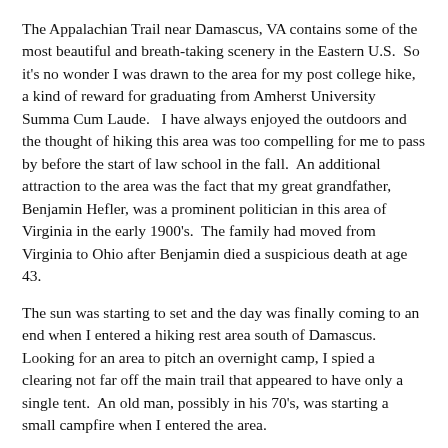The Appalachian Trail near Damascus, VA contains some of the most beautiful and breath-taking scenery in the Eastern U.S.  So it's no wonder I was drawn to the area for my post college hike, a kind of reward for graduating from Amherst University Summa Cum Laude.   I have always enjoyed the outdoors and the thought of hiking this area was too compelling for me to pass by before the start of law school in the fall.  An additional attraction to the area was the fact that my great grandfather, Benjamin Hefler, was a prominent politician in this area of Virginia in the early 1900's.  The family had moved from Virginia to Ohio after Benjamin died a suspicious death at age 43.
The sun was starting to set and the day was finally coming to an end when I entered a hiking rest area south of Damascus.  Looking for an area to pitch an overnight camp, I spied a clearing not far off the main trail that appeared to have only a single tent.  An old man, possibly in his 70's, was starting a small campfire when I entered the area.
“Hello.  How are you?  Would it be OK for me to camp next to you?”